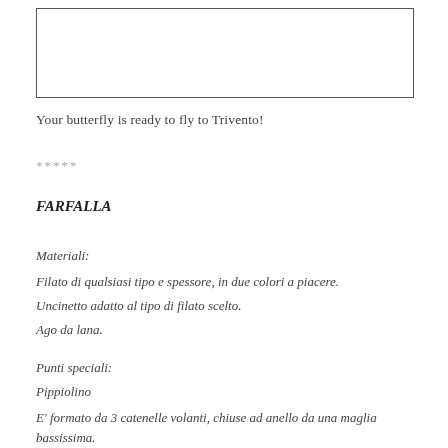[Figure (other): Empty rectangular box, likely placeholder for an image]
Your butterfly is ready to fly to Trivento!
*****
FARFALLA
Materiali:
Filato di qualsiasi tipo e spessore, in due colori a piacere.
Uncinetto adatto al tipo di filato scelto.
Ago da lana.
Punti speciali:
Pippiolino
E' formato da 3 catenelle volanti, chiuse ad anello da una maglia bassissima.